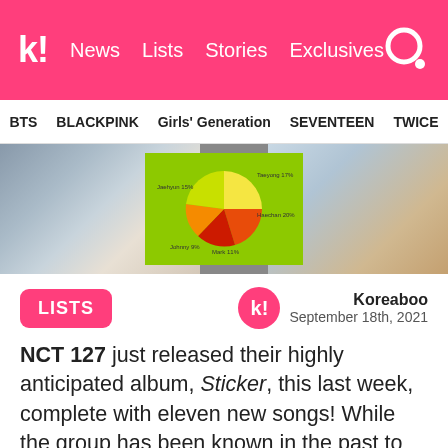k! News Lists Stories Exclusives
BTS  BLACKPINK  Girls' Generation  SEVENTEEN  TWICE
[Figure (photo): Hero banner image showing people and a pie chart graphic with colorful segments on a green background]
LISTS
Koreaboo
September 18th, 2021
NCT 127 just released their highly anticipated album, Sticker, this last week, complete with eleven new songs! While the group has been known in the past to have some fairly unevenly distributed lines, this album, as a whole, might be one of their most even ones so far. Here's a look at the line distributions for all 11 songs on